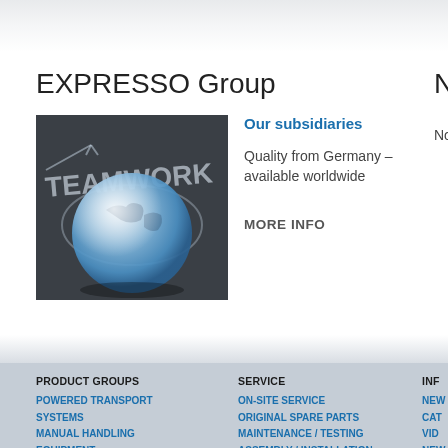EXPRESSO Group
[Figure (photo): Glass globe ball on a chalkboard with the word TEAMWORK written and arrows drawn around it, illustrating teamwork and global network concept.]
Our subsidiaries
Quality from Germany – available worldwide
MORE INFO
PRODUCT GROUPS
POWERED TRANSPORT SYSTEMS
MANUAL HANDLING EQUIPMENT
SERVICE
ON-SITE SERVICE
ORIGINAL SPARE PARTS
MAINTENANCE / TESTING
ASSEMBLY / INSTALLATION